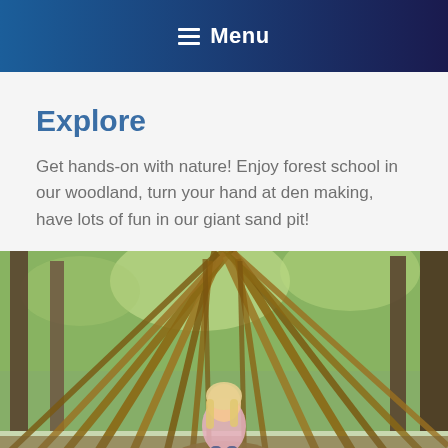≡  Menu
Explore
Get hands-on with nature! Enjoy forest school in our woodland, turn your hand at den making, have lots of fun in our giant sand pit!
[Figure (photo): A young girl with blonde hair sitting inside a woodland den made from sticks and branches arranged in a teepee structure, surrounded by green forest trees.]